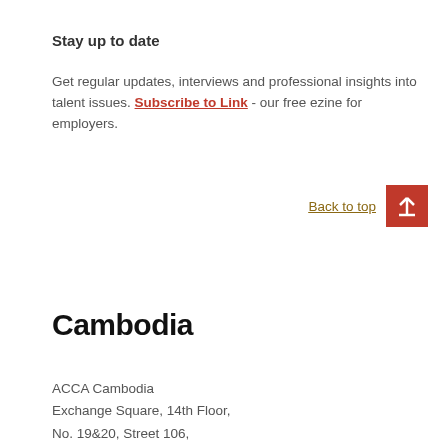Stay up to date
Get regular updates, interviews and professional insights into talent issues. Subscribe to Link - our free ezine for employers.
Back to top
Cambodia
ACCA Cambodia
Exchange Square, 14th Floor,
No. 19&20, Street 106,
Wat Phnom, Daun Penh,